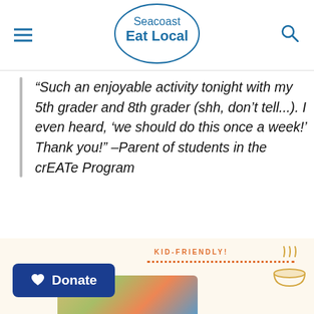[Figure (logo): Seacoast Eat Local logo — an oval/circle outline with 'Seacoast' in thin text above 'Eat Local' in bold blue text]
“Such an enjoyable activity tonight with my 5th grader and 8th grader (shh, don’t tell...). I even heard, ‘we should do this once a week!’ Thank you!” –Parent of students in the crEATe Program
[Figure (infographic): Bottom section with 'KID-FRIENDLY!' label in orange with dotted underline, a soup/steam icon on right, partial food photograph, and a blue Donate button with heart icon]